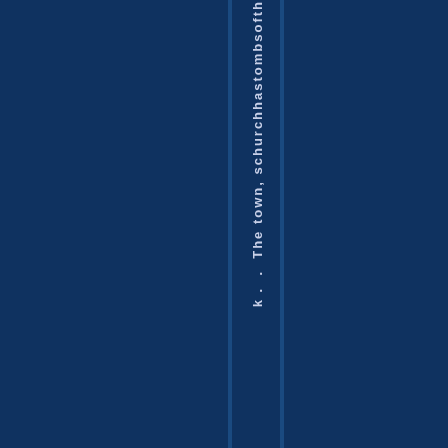k. . The town, s c h u r c h h a s t o m b s o f t h